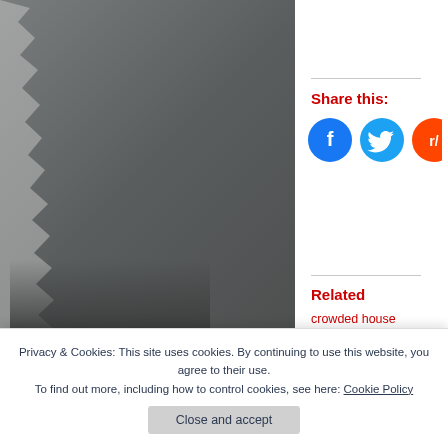[Figure (photo): A dark grey torn or rough-edged photographic image occupying the left portion of the page, showing a grey textured surface with a lighter torn edge on the left side.]
Share this:
[Figure (infographic): Three social media share buttons: Facebook (blue circle with f icon), Twitter (light blue circle with bird icon), Reddit (partially visible orange/red circle).]
Related
crowded house
December 26, 201...
Privacy & Cookies: This site uses cookies. By continuing to use this website, you agree to their use.
To find out more, including how to control cookies, see here: Cookie Policy
Close and accept
AIRPORT-TILE.AG